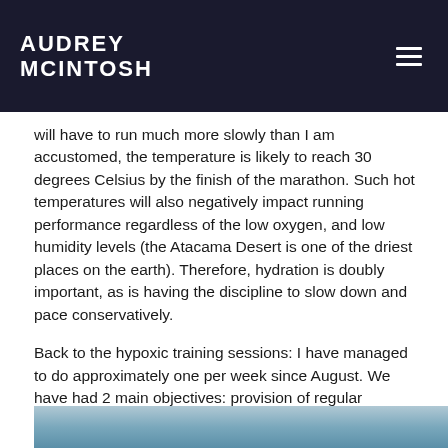AUDREY MCINTOSH
will have to run much more slowly than I am accustomed, the temperature is likely to reach 30 degrees Celsius by the finish of the marathon. Such hot temperatures will also negatively impact running performance regardless of the low oxygen, and low humidity levels (the Atacama Desert is one of the driest places on the earth). Therefore, hydration is doubly important, as is having the discipline to slow down and pace conservatively.
Back to the hypoxic training sessions: I have managed to do approximately one per week since August. We have had 2 main objectives: provision of regular exposure to hypoxic air in order to encourage the body to adapt more readily to it; and to determine a pace that I can comfortably maintain throughout to ensure that I complete the marathon.
[Figure (photo): Partial photo visible at bottom of page, appears to show outdoor or athletic scene]